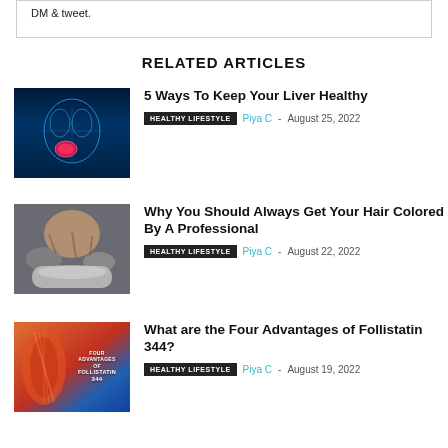DM & tweet.
RELATED ARTICLES
[Figure (photo): X-ray anatomy image with glowing liver highlighted in pink/red on dark blue background]
5 Ways To Keep Your Liver Healthy
HEALTHY LIFESTYLE  Piya C - August 25, 2022
[Figure (photo): Person getting hair washed at a salon sink, hands visible in hair]
Why You Should Always Get Your Hair Colored By A Professional
HEALTHY LIFESTYLE  Piya C - August 22, 2022
[Figure (photo): Four Advantages of Follistatin 344 promotional image with muscle anatomy and text overlay]
What are the Four Advantages of Follistatin 344?
HEALTHY LIFESTYLE  Piya C - August 19, 2022